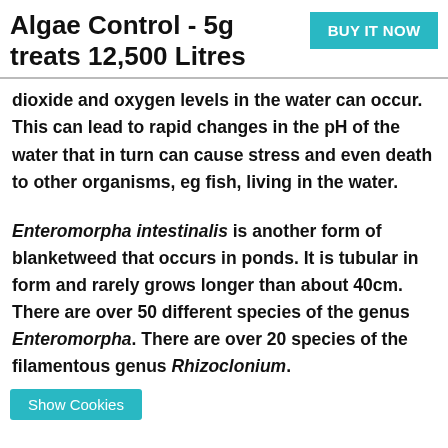Algae Control - 5g treats 12,500 Litres
dioxide and oxygen levels in the water can occur. This can lead to rapid changes in the pH of the water that in turn can cause stress and even death to other organisms, eg fish, living in the water.
Enteromorpha intestinalis is another form of blanketweed that occurs in ponds. It is tubular in form and rarely grows longer than about 40cm. There are over 50 different species of the genus Enteromorpha. There are over 20 species of the filamentous genus Rhizoclonium.
Show Cookies